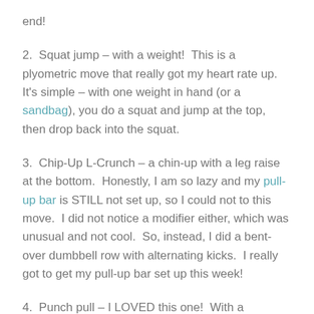end!
2.  Squat jump – with a weight!  This is a plyometric move that really got my heart rate up.  It's simple – with one weight in hand (or a sandbag), you do a squat and jump at the top, then drop back into the squat.
3.  Chip-Up L-Crunch – a chin-up with a leg raise at the bottom.  Honestly, I am so lazy and my pull-up bar is STILL not set up, so I could not to this move.  I did not notice a modifier either, which was unusual and not cool.  So, instead, I did a bent-over dumbbell row with alternating kicks.  I really got to get my pull-up bar set up this week!
4.  Punch pull – I LOVED this one!  With a dumbbell in hand, punch downward in a lunge, then pivot as